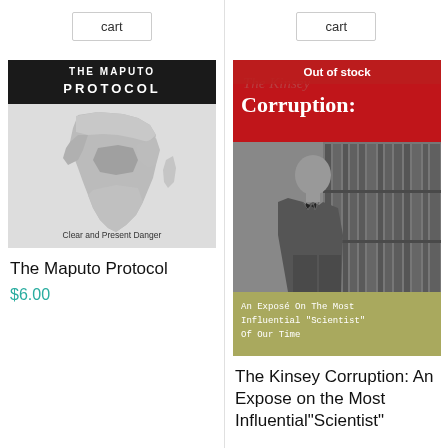cart
cart
[Figure (illustration): Book cover: The Maputo Protocol - Clear and Present Danger, showing a gray map of Africa on white background with black header]
The Maputo Protocol
$6.00
[Figure (illustration): Book cover: The Kinsey Corruption - An Exposé On The Most Influential 'Scientist' Of Our Time, with 'Out of stock' red banner overlay, showing a black and white photo of a man in a suit in a library]
The Kinsey Corruption: An Expose on the Most Influential "Scientist"